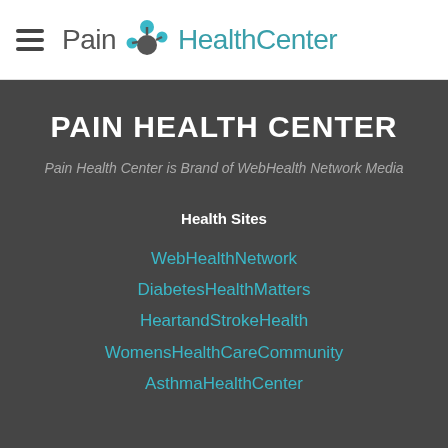Pain Health Center
PAIN HEALTH CENTER
Pain Health Center is Brand of WebHealth Network Media
Health Sites
WebHealthNetwork
DiabetesHealthMatters
HeartandStrokeHealth
WomensHealthCareCommunity
AsthmaHealthCenter